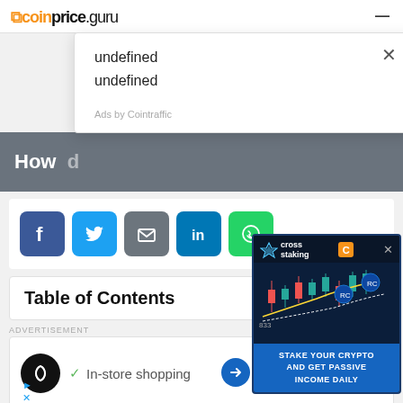coinprice.guru
[Figure (screenshot): Ad dropdown overlay showing two 'undefined' text items and 'Ads by Cointraffic' label with close X button]
[Figure (screenshot): Hero banner with partial text 'How ...' on dark gray background]
[Figure (infographic): Social sharing buttons: Facebook (blue), Twitter (light blue), Email (gray), LinkedIn (blue), WhatsApp (green)]
Table of Contents
ADVERTISEMENT
[Figure (screenshot): Bottom advertisement banner with circular logo, checkmark and 'In-store shopping' text]
[Figure (screenshot): Cross staking ad overlay: 'cross staking' logo with C icon, crypto chart, text 'STAKE YOUR CRYPTO AND GET PASSIVE INCOME DAILY']